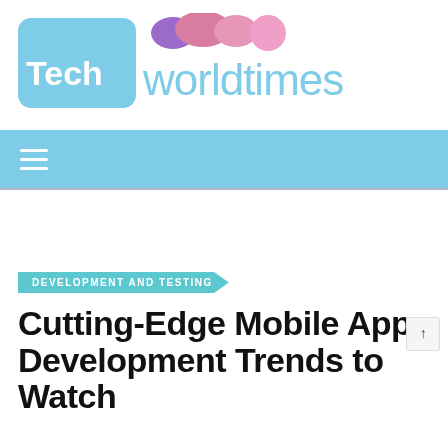[Figure (logo): Techworldtimes logo with light blue rounded square containing white 'Tech' text and colored bubble icons, followed by 'worldtimes' in light blue]
Navigation bar with hamburger menu icon on light blue background
DEVELOPMENT AND TESTING
Cutting-Edge Mobile App Development Trends to Watch in 2021